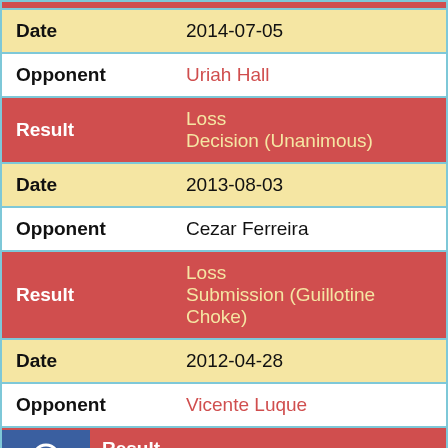| Field | Value |
| --- | --- |
| Date | 2014-07-05 |
| Opponent | Uriah Hall |
| Result | Loss
Decision (Unanimous) |
| Date | 2013-08-03 |
| Opponent | Cezar Ferreira |
| Result | Loss
Submission (Guillotine Choke) |
| Date | 2012-04-28 |
| Opponent | Vicente Luque |
| Result | Loss
TKO (Punches) |